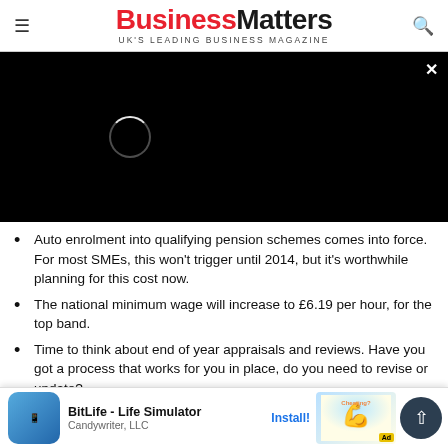BusinessMatters — UK'S LEADING BUSINESS MAGAZINE
[Figure (screenshot): Black video player area with loading spinner circle and close X button in top right]
Auto enrolment into qualifying pension schemes comes into force. For most SMEs, this won't trigger until 2014, but it's worthwhile planning for this cost now.
The national minimum wage will increase to £6.19 per hour, for the top band.
Time to think about end of year appraisals and reviews. Have you got a process that works for you in place, do you need to revise or update?
W... o, e... these
[Figure (screenshot): Mobile app advertisement banner: BitLife - Life Simulator by Candywriter, LLC with Install button and Ad badge]